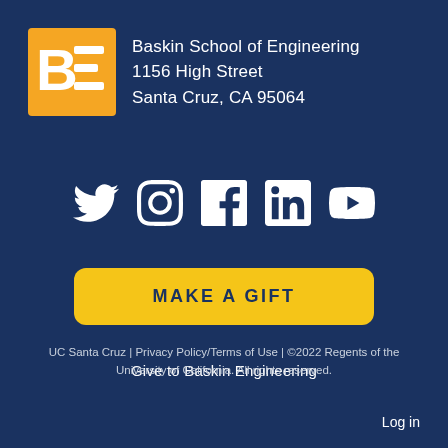[Figure (logo): Baskin School of Engineering logo — orange square with white BE letters, followed by school name and address text]
Baskin School of Engineering
1156 High Street
Santa Cruz, CA 95064
[Figure (infographic): Row of 5 social media icons: Twitter, Instagram, Facebook, LinkedIn, YouTube — all white on dark blue background]
MAKE A GIFT
Give to Baskin Engineering
UC Santa Cruz | Privacy Policy/Terms of Use | ©2022 Regents of the University of California. All rights reserved.
Log in